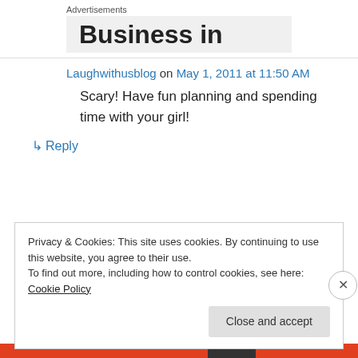Advertisements
[Figure (other): Partially visible advertisement banner with bold text reading 'Business in']
Laughwithusblog on May 1, 2011 at 11:50 AM
Scary! Have fun planning and spending time with your girl!
↳ Reply
Privacy & Cookies: This site uses cookies. By continuing to use this website, you agree to their use.
To find out more, including how to control cookies, see here: Cookie Policy
Close and accept